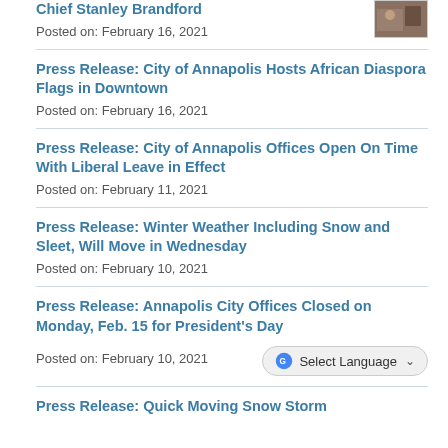Chief Stanley Brandford
Posted on: February 16, 2021
Press Release: City of Annapolis Hosts African Diaspora Flags in Downtown
Posted on: February 16, 2021
Press Release: City of Annapolis Offices Open On Time With Liberal Leave in Effect
Posted on: February 11, 2021
Press Release: Winter Weather Including Snow and Sleet, Will Move in Wednesday
Posted on: February 10, 2021
Press Release: Annapolis City Offices Closed on Monday, Feb. 15 for President's Day
Posted on: February 10, 2021
Press Release: Quick Moving Snow Storm